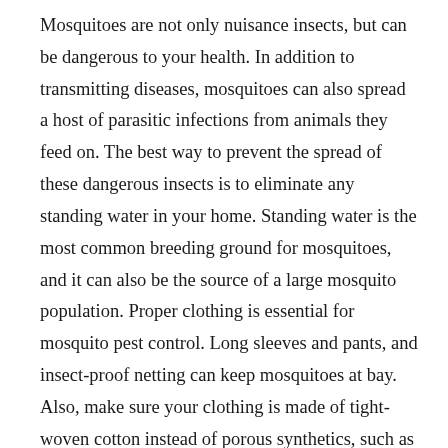Mosquitoes are not only nuisance insects, but can be dangerous to your health. In addition to transmitting diseases, mosquitoes can also spread a host of parasitic infections from animals they feed on. The best way to prevent the spread of these dangerous insects is to eliminate any standing water in your home. Standing water is the most common breeding ground for mosquitoes, and it can also be the source of a large mosquito population. Proper clothing is essential for mosquito pest control. Long sleeves and pants, and insect-proof netting can keep mosquitoes at bay. Also, make sure your clothing is made of tight-woven cotton instead of porous synthetics, such as cotton. Keeping doors and windows closed will help repel mosquitoes. Using insect-proof netting and a fly swatter can also kill mosquitoes. To prevent mosquito bites from becoming too bothersome, avoid outdoor activities during